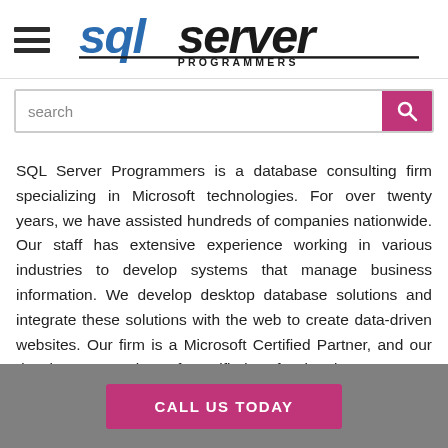[Figure (logo): SQL Server Programmers logo - stylized text with blue and black lettering]
search
SQL Server Programmers is a database consulting firm specializing in Microsoft technologies. For over twenty years, we have assisted hundreds of companies nationwide. Our staff has extensive experience working in various industries to develop systems that manage business information. We develop desktop database solutions and integrate these solutions with the web to create data-driven websites. Our firm is a Microsoft Certified Partner, and our developers are Microsoft Certified Professionals.
CALL US TODAY